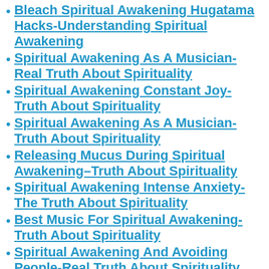Bleach Spiritual Awakening Hugatama Hacks-Understanding Spiritual Awakening
Spiritual Awakening As A Musician-Real Truth About Spirituality
Spiritual Awakening Constant Joy-Truth About Spirituality
Spiritual Awakening As A Musician-Truth About Spirituality
Releasing Mucus During Spiritual Awakening–Truth About Spirituality
Spiritual Awakening Intense Anxiety- The Truth About Spirituality
Best Music For Spiritual Awakening-Truth About Spirituality
Spiritual Awakening And Avoiding People-Real Truth About Spirituality
The Process Of Spiritual Awakening–Truth About Spirituality